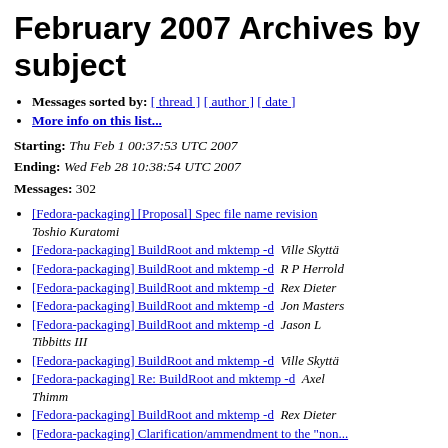February 2007 Archives by subject
Messages sorted by: [ thread ] [ author ] [ date ]
More info on this list...
Starting: Thu Feb 1 00:37:53 UTC 2007
Ending: Wed Feb 28 10:38:54 UTC 2007
Messages: 302
[Fedora-packaging] [Proposal] Spec file name revision  Toshio Kuratomi
[Fedora-packaging] BuildRoot and mktemp -d  Ville Skyttä
[Fedora-packaging] BuildRoot and mktemp -d  R P Herrold
[Fedora-packaging] BuildRoot and mktemp -d  Rex Dieter
[Fedora-packaging] BuildRoot and mktemp -d  Jon Masters
[Fedora-packaging] BuildRoot and mktemp -d  Jason L Tibbitts III
[Fedora-packaging] BuildRoot and mktemp -d  Ville Skyttä
[Fedora-packaging] Re: BuildRoot and mktemp -d  Axel Thimm
[Fedora-packaging] BuildRoot and mktemp -d  Rex Dieter
[Fedora-packaging] Clarification/ammendment to the "non...